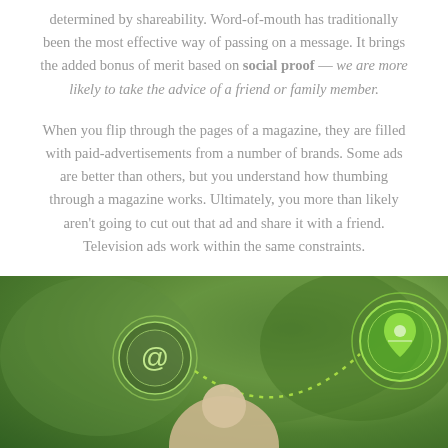determined by shareability. Word-of-mouth has traditionally been the most effective way of passing on a message. It brings the added bonus of merit based on social proof — we are more likely to take the advice of a friend or family member.
When you flip through the pages of a magazine, they are filled with paid-advertisements from a number of brands. Some ads are better than others, but you understand how thumbing through a magazine works. Ultimately, you more than likely aren't going to cut out that ad and share it with a friend. Television ads work within the same constraints.
[Figure (photo): Photo of a person outdoors among green trees with overlaid green glowing social media network icons: an @ symbol on the left and a location pin icon on the right, connected by a dotted arc path, suggesting social media connectivity.]